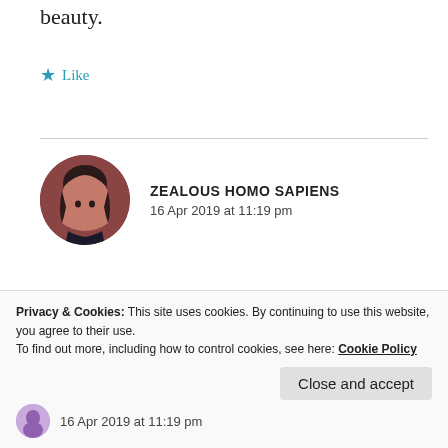beauty.
★ Like
ZEALOUS HOMO SAPIENS
16 Apr 2019 at 11:19 pm
Yea! You've got to admit that!
★ Like
Privacy & Cookies: This site uses cookies. By continuing to use this website, you agree to their use.
To find out more, including how to control cookies, see here: Cookie Policy
Close and accept
16 Apr 2019 at 11:19 pm